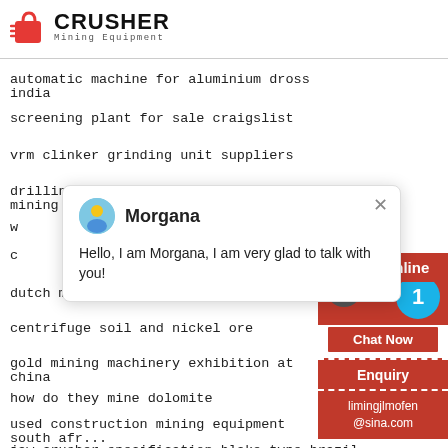[Figure (logo): Crusher Mining Equipment logo with red shopping bag icon and bold CRUSHER text]
automatic machine for aluminium dross india
screening plant for sale craigslist
vrm clinker grinding unit suppliers
drilling and blasting in open pit mining wikipe...
w...
c...
dutch mill yogurt drink review
centrifuge soil and nickel ore
gold mining machinery exhibition at china
how do they mine dolomite
used construction mining equipment south afr...
jaw crusher specification blake type brazil
[Figure (screenshot): Chat popup with Morgana avatar, name Morgana, message: Hello, I am Morgana, I am very glad to talk with you!]
[Figure (infographic): Red right sidebar with 24Hrs Online bar, headphone icon, blue badge with number 1, Chat Now button, Enquiry section, limingjlmofen@sina.com email]